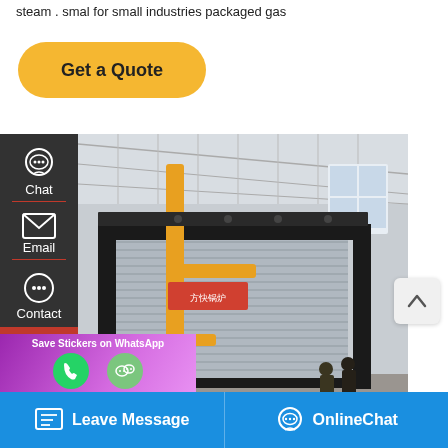steam . smal for small industries packaged gas
Get a Quote
[Figure (photo): Industrial packaged gas/steam boiler in a factory setting, large corrugated metal casing with yellow gas pipes, two workers visible in background]
e 8t Fully Automatic
Save Stickers on WhatsApp
Leave Message
OnlineChat